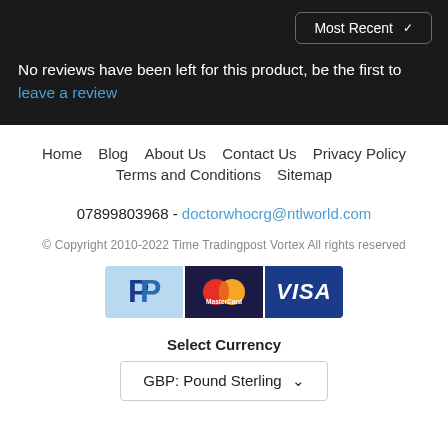Most Recent
No reviews have been left for this product, be the first to leave a review
Home  Blog  About Us  Contact Us  Privacy Policy  Terms and Conditions  Sitemap
07899803968 - doctorwhocrg@ntlworld.com
© Copyright 2010-2022 Time Tradingpost Vortex All rights reserved
[Figure (logo): PayPal, MasterCard, and VISA payment icons]
Select Currency
GBP: Pound Sterling